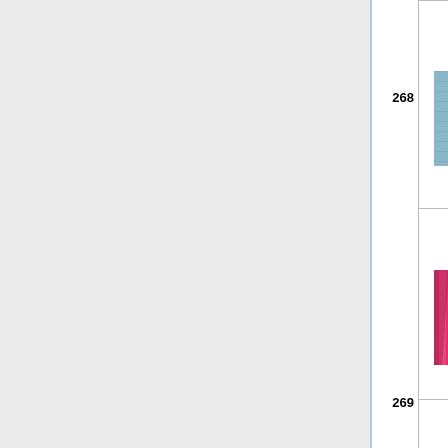| # | Image | Title | ... |
| --- | --- | --- | --- |
| 268 | [Lockdown for Love image] | Lockdown for Love | ... |
|  | [Under the Small Top image] | Under the Small Top | ... |
| 269 |  |  | ... |